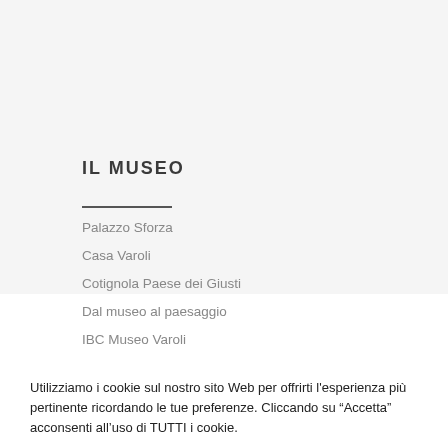IL MUSEO
Palazzo Sforza
Casa Varoli
Cotignola Paese dei Giusti
Dal museo al paesaggio
IBC Museo Varoli
Utilizziamo i cookie sul nostro sito Web per offrirti l'esperienza più pertinente ricordando le tue preferenze. Cliccando su “Accetta” acconsenti all’uso di TUTTI i cookie.
Personalizza
ACCETTA